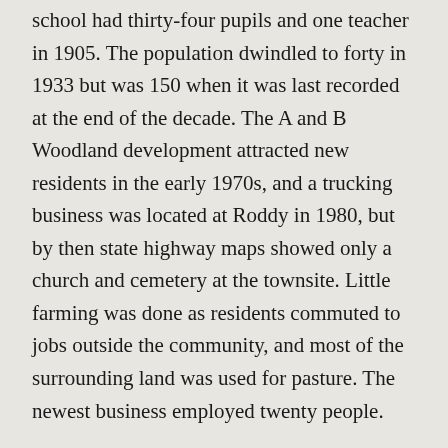school had thirty-four pupils and one teacher in 1905. The population dwindled to forty in 1933 but was 150 when it was last recorded at the end of the decade. The A and B Woodland development attracted new residents in the early 1970s, and a trucking business was located at Roddy in 1980, but by then state highway maps showed only a church and cemetery at the townsite. Little farming was done as residents commuted to jobs outside the community, and most of the surrounding land was used for pasture. The newest business employed twenty people.
Is history important to you?